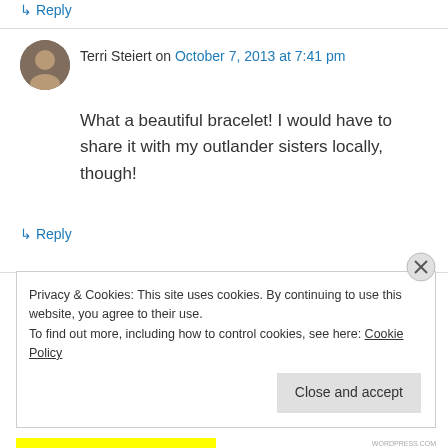↳ Reply
Terri Steiert on October 7, 2013 at 7:41 pm
What a beautiful bracelet! I would have to share it with my outlander sisters locally, though!
↳ Reply
Cássia Castro (@CassiaLCastro) on October 7, 2013 at 7:45 pm
Privacy & Cookies: This site uses cookies. By continuing to use this website, you agree to their use.
To find out more, including how to control cookies, see here: Cookie Policy
Close and accept